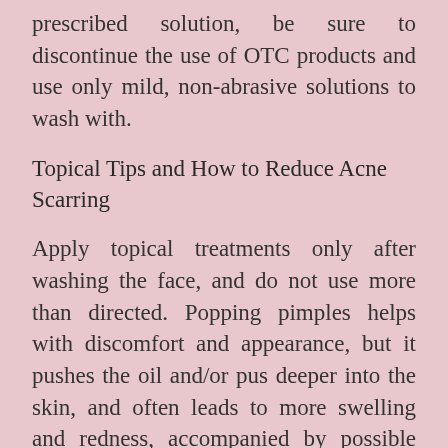prescribed solution, be sure to discontinue the use of OTC products and use only mild, non-abrasive solutions to wash with.
Topical Tips and How to Reduce Acne Scarring
Apply topical treatments only after washing the face, and do not use more than directed. Popping pimples helps with discomfort and appearance, but it pushes the oil and/or pus deeper into the skin, and often leads to more swelling and redness, accompanied by possible scarring. Practice a regular pimple prevention routine for several weeks that combines appropriate hygiene practices with